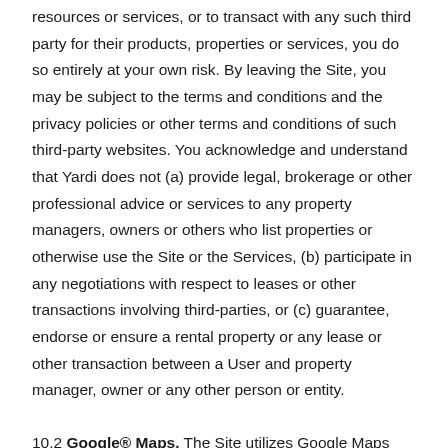resources or services, or to transact with any such third party for their products, properties or services, you do so entirely at your own risk. By leaving the Site, you may be subject to the terms and conditions and the privacy policies or other terms and conditions of such third-party websites. You acknowledge and understand that Yardi does not (a) provide legal, brokerage or other professional advice or services to any property managers, owners or others who list properties or otherwise use the Site or the Services, (b) participate in any negotiations with respect to leases or other transactions involving third-parties, or (c) guarantee, endorse or ensure a rental property or any lease or other transaction between a User and property manager, owner or any other person or entity.
10.2 Google® Maps. The Site utilizes Google Maps and